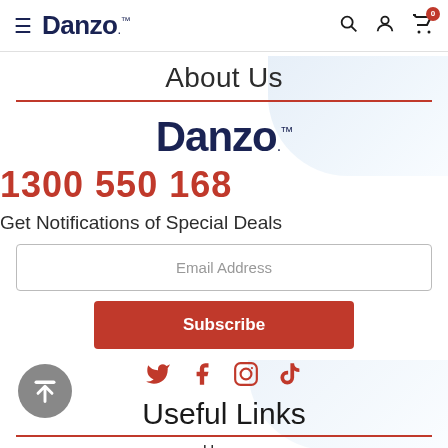Danzo™ — navigation header with hamburger menu, search, account, and cart icons
About Us
[Figure (logo): Danzo™ brand logo in large dark navy bold font with TM mark]
1300 550 168
Get Notifications of Special Deals
Email Address
Subscribe
[Figure (infographic): Social media icons: Twitter, Facebook, Instagram, TikTok — all in red]
Useful Links
Home